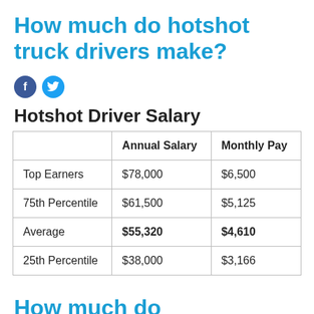How much do hotshot truck drivers make?
[Figure (other): Social media share icons: Facebook (blue circle with f) and Twitter (light blue circle with bird)]
Hotshot Driver Salary
|  | Annual Salary | Monthly Pay |
| --- | --- | --- |
| Top Earners | $78,000 | $6,500 |
| 75th Percentile | $61,500 | $5,125 |
| Average | $55,320 | $4,610 |
| 25th Percentile | $38,000 | $3,166 |
How much do international truck drivers make?